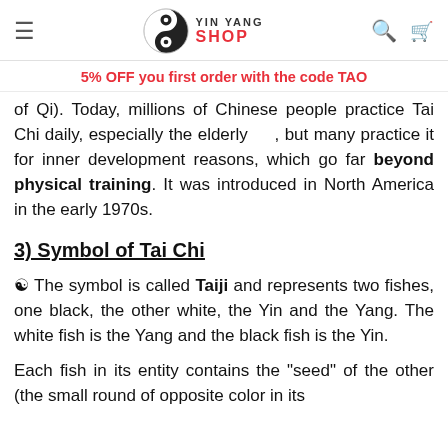YIN YANG SHOP
5% OFF you first order with the code TAO
of Qi). Today, millions of Chinese people practice Tai Chi daily, especially the elderly, but many practice it for inner development reasons, which go far beyond physical training. It was introduced in North America in the early 1970s.
3) Symbol of Tai Chi
☯ The symbol is called Taiji and represents two fishes, one black, the other white, the Yin and the Yang. The white fish is the Yang and the black fish is the Yin.
Each fish in its entity contains the "seed" of the other (the small round of opposite color in its